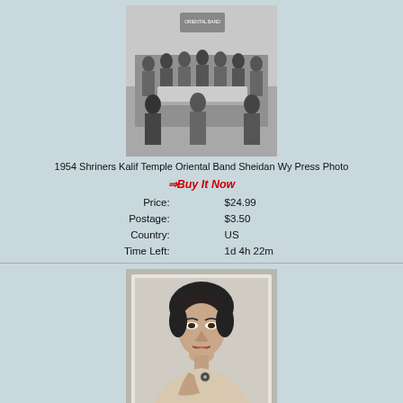[Figure (photo): Black and white press photo of 1954 Shriners Kalif Temple Oriental Band, group of people in costume indoors]
1954 Shriners Kalif Temple Oriental Band Sheidan Wy Press Photo
Buy It Now
| Price: | $24.99 |
| Postage: | $3.50 |
| Country: | US |
| Time Left: | 1d 4h 22m |
[Figure (photo): Black and white portrait photo of Ann Sheridan, a female celebrity, vintage glamour style]
Ann Sherida Fine Art Celebrities Vintage Rare Photo Glossy Big Size 8X10in A003